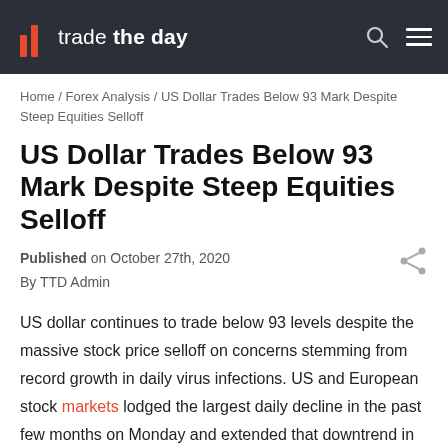trade the day
Home / Forex Analysis / US Dollar Trades Below 93 Mark Despite Steep Equities Selloff
US Dollar Trades Below 93 Mark Despite Steep Equities Selloff
Published on October 27th, 2020
By TTD Admin
US dollar continues to trade below 93 levels despite the massive stock price selloff on concerns stemming from record growth in daily virus infections. US and European stock markets lodged the largest daily decline in the past few months on Monday and extended that downtrend in Tuesday trading.